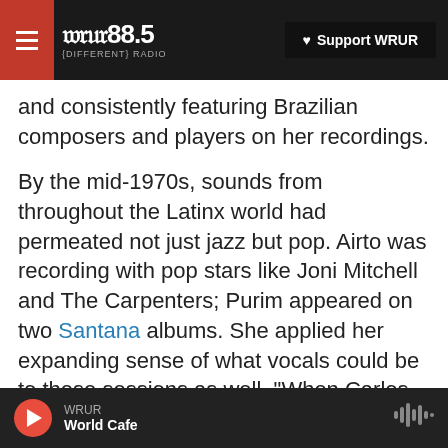WRUR 88.5 DIFFERENT RADIO — Support WRUR
and consistently featuring Brazilian composers and players on her recordings.
By the mid-1970s, sounds from throughout the Latinx world had permeated not just jazz but pop. Airto was recording with pop stars like Joni Mitchell and The Carpenters; Purim appeared on two Santana albums. She applied her expanding sense of what vocals could be to these sessions as well. "When Carlos invited me, I walked into the session, and there was a song for me. I sang it and improvised a little jazz thing. Then for the next record, he invited me, and it was a Jobim song. Yet
WRUR — World Cafe